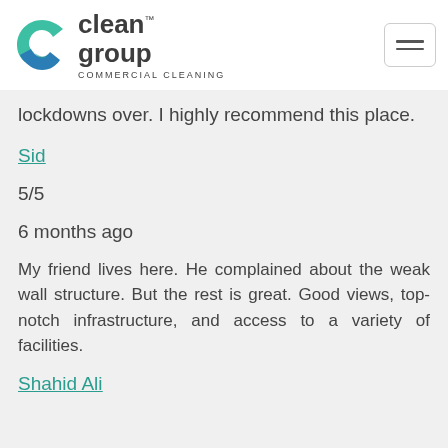clean group COMMERCIAL CLEANING
lockdowns over. I highly recommend this place.
Sid
5/5
6 months ago
My friend lives here. He complained about the weak wall structure. But the rest is great. Good views, top-notch infrastructure, and access to a variety of facilities.
Shahid Ali